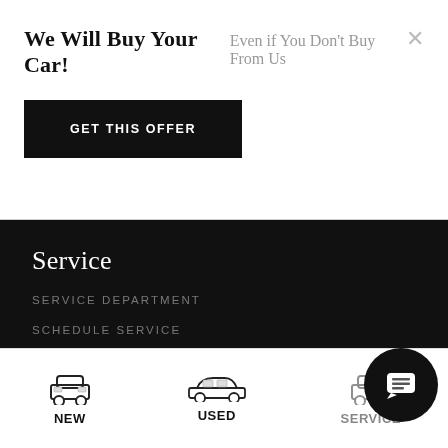We Will Buy Your Car!
Even if You Don't Buy From Us
GET THIS OFFER
Service
SERVICE DEPARTMENT
SCHEDULE SERVICE
ORDER PARTS
Shopping Tools
APPLY FOR FINANCING
NEW
USED
SERVICE